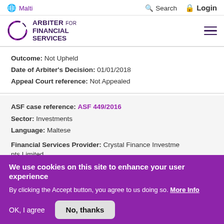Malti  Search  Login
[Figure (logo): Arbiter for Financial Services logo with circular ring graphic]
Outcome: Not Upheld
Date of Arbiter's Decision: 01/01/2018
Appeal Court reference: Not Appealed
ASF case reference: ASF 449/2016
Sector: Investments
Language: Maltese
Financial Services Provider: Crystal Finance Investments Limited
We use cookies on this site to enhance your user experience
By clicking the Accept button, you agree to us doing so. More Info
OK, I agree   No, thanks